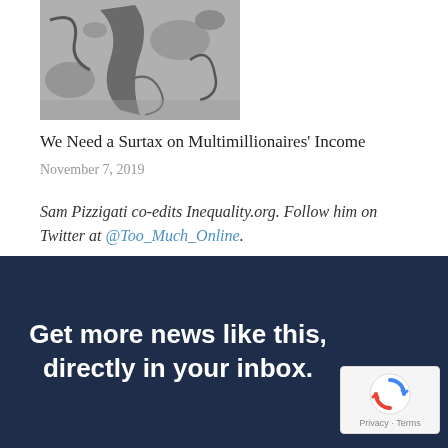[Figure (photo): Grayscale illustration/photo used as article thumbnail image]
We Need a Surtax on Multimillionaires' Income
November 7, 2019
Sam Pizzigati co-edits Inequality.org. Follow him on Twitter at @Too_Much_Online.
Get more news like this, directly in your inbox.